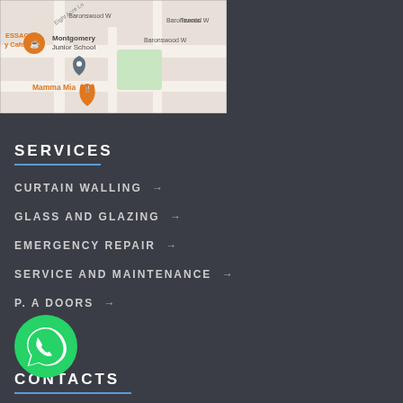[Figure (map): Google Maps screenshot showing Montgomery Junior School area with markers for Mamma Mia restaurant and other locations including Baronswood, Eight Acre Ln, Tennis area, and ESSAC Cafe]
SERVICES
CURTAIN WALLING →
GLASS AND GLAZING →
EMERGENCY REPAIR →
SERVICE AND MAINTENANCE →
P. A DOORS →
[Figure (logo): WhatsApp green circular logo button]
CONTACTS